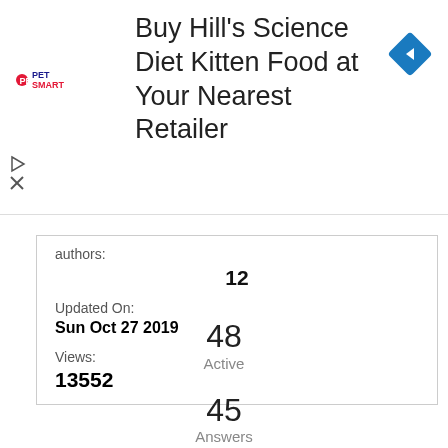[Figure (screenshot): PetSmart advertisement banner: 'Buy Hill's Science Diet Kitten Food at Your Nearest Retailer' with PetSmart logo and blue diamond navigation icon]
authors:
12
Updated On:
Sun Oct 27 2019
Views:
13552
48
Active
45
Answers